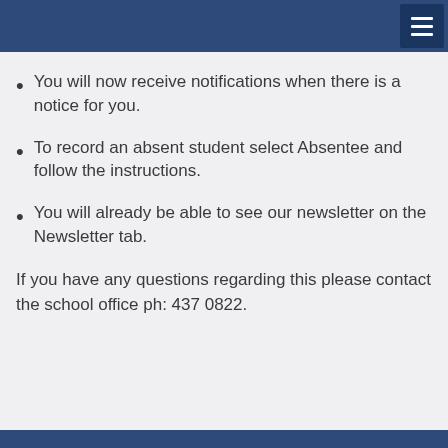You will now receive notifications when there is a notice for you.
To record an absent student select Absentee and follow the instructions.
You will already be able to see our newsletter on the Newsletter tab.
If you have any questions regarding this please contact the school office ph: 437 0822.